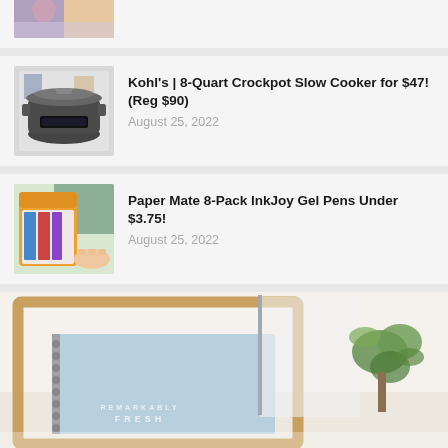[Figure (photo): Partially visible cropped image at top of page]
[Figure (photo): 8-Quart Crockpot slow cooker on counter]
Kohl's | 8-Quart Crockpot Slow Cooker for $47! (Reg $90)
August 25, 2022
[Figure (photo): Paper Mate InkJoy gel pens in orange bag packaging]
Paper Mate 8-Pack InkJoy Gel Pens Under $3.75!
August 25, 2022
[Figure (photo): Spiral notebook on wooden frame stand with plant, large format image]